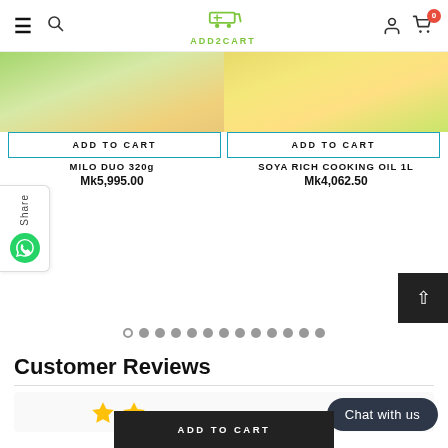ADD2CART — navigation header with hamburger, search, logo, user icon, cart (0)
[Figure (photo): Product image of MILO DUO 320g (partially visible, green packaging)]
[Figure (photo): Product image of SOYA RICH COOKING OIL 1L (partially visible, yellow bottle)]
ADD TO CART (button for MILO DUO 320g)
ADD TO CART (button for SOYA RICH COOKING OIL 1L)
MILO DUO 320g
Mk5,995.00
SOYA RICH COOKING OIL 1L
Mk4,062.50
Share (WhatsApp share sidebar)
Pagination dots (carousel indicator, 13 dots, first is active/empty)
Customer Reviews
Chat with us
ADD TO CART (bottom sticky bar)